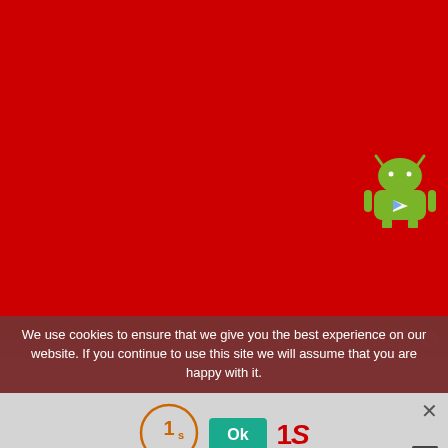[Figure (screenshot): Red background filling upper portion of page, with Android robot mascot (Google Play icon) in upper right area]
[Figure (illustration): Social media icons bar (Facebook, Twitter, LinkedIn, Pinterest, Instagram, Reddit) on dark red background]
We use cookies to ensure that we give you the best experience on our website. If you continue to use this site we will assume that you are happy with it.
[Figure (logo): 1s logo circle, Ok green button, and 1S brand text in red/grey]